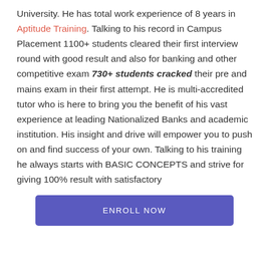University. He has total work experience of 8 years in Aptitude Training. Talking to his record in Campus Placement 1100+ students cleared their first interview round with good result and also for banking and other competitive exam 730+ students cracked their pre and mains exam in their first attempt. He is multi-accredited tutor who is here to bring you the benefit of his vast experience at leading Nationalized Banks and academic institution. His insight and drive will empower you to push on and find success of your own. Talking to his training he always starts with BASIC CONCEPTS and strive for giving 100% result with satisfactory
ENROLL NOW